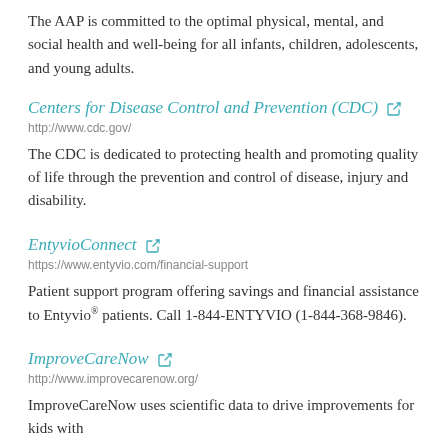The AAP is committed to the optimal physical, mental, and social health and well-being for all infants, children, adolescents, and young adults.
Centers for Disease Control and Prevention (CDC)
http://www.cdc.gov/
The CDC is dedicated to protecting health and promoting quality of life through the prevention and control of disease, injury and disability.
EntyvioConnect
https://www.entyvio.com/financial-support
Patient support program offering savings and financial assistance to Entyvio® patients. Call 1-844-ENTYVIO (1-844-368-9846).
ImproveCareNow
http://www.improvecarenow.org/
ImproveCareNow uses scientific data to drive improvements for kids with